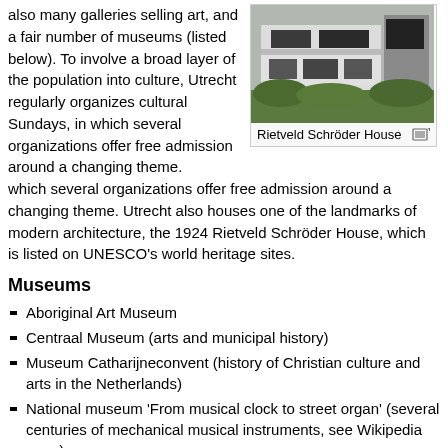also many galleries selling art, and a fair number of museums (listed below). To involve a broad layer of the population into culture, Utrecht regularly organizes cultural Sundays, in which several organizations offer free admission around a changing theme. Utrecht also houses one of the landmarks of modern architecture, the 1924 Rietveld Schröder House, which is listed on UNESCO's world heritage sites.
[Figure (photo): Exterior photo of Rietveld Schröder House, a modernist building with white walls and rectangular forms, surrounded by green bushes.]
Rietveld Schröder House
Museums
Aboriginal Art Museum
Centraal Museum (arts and municipal history)
Museum Catharijneconvent (history of Christian culture and arts in the Netherlands)
National museum 'From musical clock to street organ' (several centuries of mechanical musical instruments, see Wikipedia page)
Railroad Museum (history of Dutch railroad, see Wikipedia page)
University museum (see Utrecht University)
Famous people from Utrecht
[Figure (photo): Partial photo of a building or monument with trees, cropped at bottom of page.]